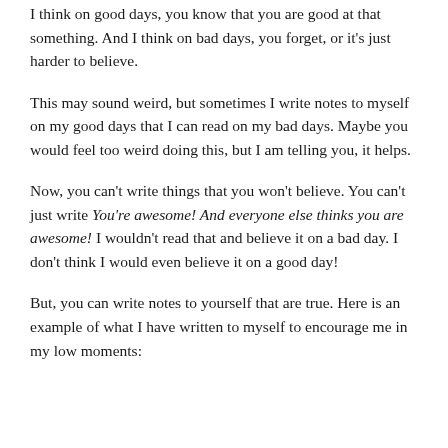I think on good days, you know that you are good at that something. And I think on bad days, you forget, or it's just harder to believe.
This may sound weird, but sometimes I write notes to myself on my good days that I can read on my bad days. Maybe you would feel too weird doing this, but I am telling you, it helps.
Now, you can't write things that you won't believe. You can't just write You're awesome! And everyone else thinks you are awesome! I wouldn't read that and believe it on a bad day. I don't think I would even believe it on a good day!
But, you can write notes to yourself that are true. Here is an example of what I have written to myself to encourage me in my low moments: